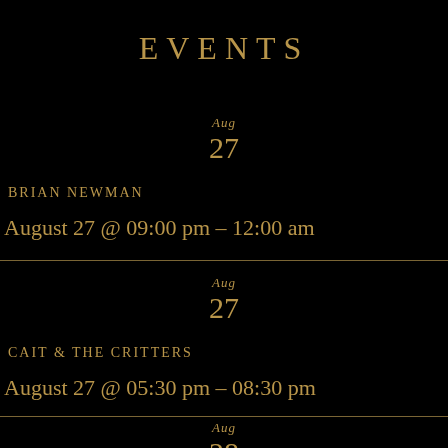EVENTS
Aug
27
BRIAN NEWMAN
August 27 @ 09:00 pm – 12:00 am
Aug
27
CAIT & THE CRITTERS
August 27 @ 05:30 pm – 08:30 pm
Aug
28